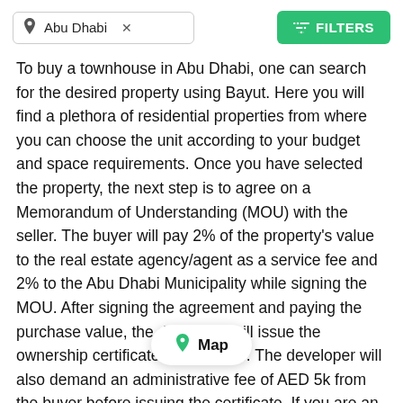[Figure (screenshot): Search bar with location pin icon, 'Abu Dhabi X' text input, and a green 'FILTERS' button with sliders icon on the right]
To buy a townhouse in Abu Dhabi, one can search for the desired property using Bayut. Here you will find a plethora of residential properties from where you can choose the unit according to your budget and space requirements. Once you have selected the property, the next step is to agree on a Memorandum of Understanding (MOU) with the seller. The buyer will pay 2% of the property's value to the real estate agency/agent as a service fee and 2% to the Abu Dhabi Municipality while signing the MOU. After signing the agreement and paying the purchase value, the developer will issue the ownership certificate to the buyer. The developer will also demand an administrative fee of AED 5k from the buyer before issuing the certificate. If you are an expat and interested in buying a [Map] u Dhabi for sale then you can purchase in designated investment zones of the [continues]
[Figure (screenshot): Map pill overlay button with green location pin icon and 'Map' label, overlaid on the text content]